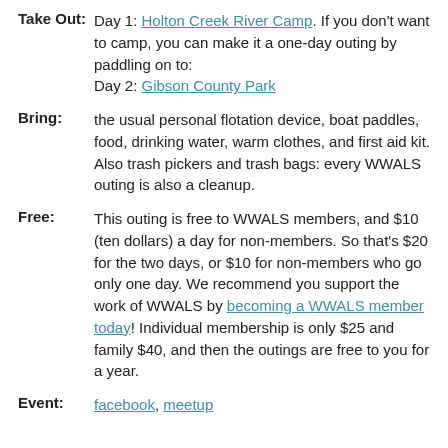Take Out: Day 1: Holton Creek River Camp. If you don't want to camp, you can make it a one-day outing by paddling on to:
Day 2: Gibson County Park
Bring: the usual personal flotation device, boat paddles, food, drinking water, warm clothes, and first aid kit. Also trash pickers and trash bags: every WWALS outing is also a cleanup.
Free: This outing is free to WWALS members, and $10 (ten dollars) a day for non-members. So that's $20 for the two days, or $10 for non-members who go only one day. We recommend you support the work of WWALS by becoming a WWALS member today! Individual membership is only $25 and family $40, and then the outings are free to you for a year.
Event: facebook, meetup